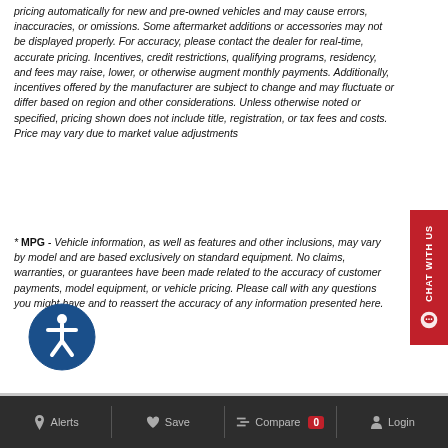pricing automatically for new and pre-owned vehicles and may cause errors, inaccuracies, or omissions. Some aftermarket additions or accessories may not be displayed properly. For accuracy, please contact the dealer for real-time, accurate pricing. Incentives, credit restrictions, qualifying programs, residency, and fees may raise, lower, or otherwise augment monthly payments. Additionally, incentives offered by the manufacturer are subject to change and may fluctuate or differ based on region and other considerations. Unless otherwise noted or specified, pricing shown does not include title, registration, or tax fees and costs. Price may vary due to market value adjustments
* MPG - Vehicle information, as well as features and other inclusions, may vary by model and are based exclusively on standard equipment. No claims, warranties, or guarantees have been made related to the accuracy of customer payments, model equipment, or vehicle pricing. Please call with any questions you might have and to reassert the accuracy of any information presented here.
[Figure (illustration): Red 'CHAT WITH US' sidebar button on right edge with chat bubble icon]
[Figure (logo): Blue circle accessibility icon (wheelchair symbol) in lower left area]
Alerts  Save  Compare 0  Login